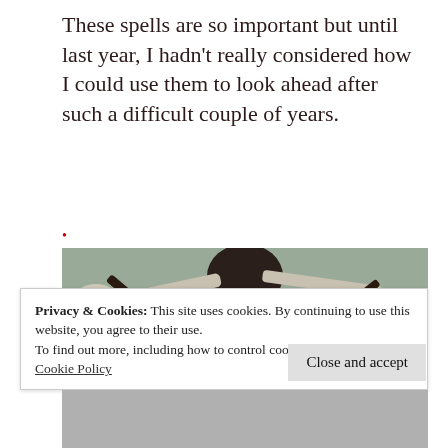These spells are so important but until last year, I hadn't really considered how I could use them to look ahead after such a difficult couple of years.
•
[Figure (photo): A close-up photograph of what appears to be a dark metal object resembling a clothes hanger or tool, with white spoon-like parts and a small paper tag with a handwritten number 2 on it, against a greenish-grey background.]
Privacy & Cookies: This site uses cookies. By continuing to use this website, you agree to their use.
To find out more, including how to control cookies, see here:
Cookie Policy
Close and accept